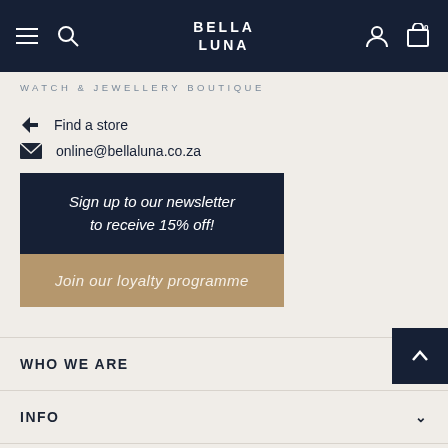BELLA LUNA - WATCH & JEWELLERY BOUTIQUE - navigation bar
Find a store
online@bellaluna.co.za
Sign up to our newsletter to receive 15% off!
Join our loyalty programme
WHO WE ARE
INFO
SOCIAL